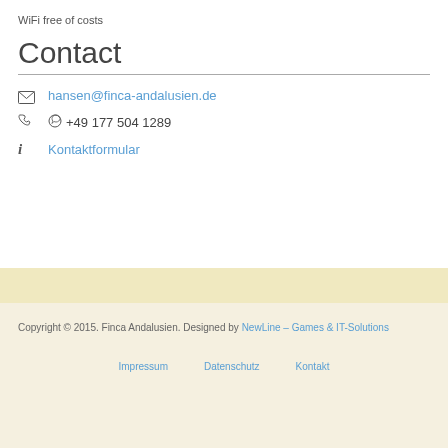WiFi free of costs
Contact
hansen@finca-andalusien.de
+49 177 504 1289
Kontaktformular
Copyright © 2015. Finca Andalusien. Designed by NewLine – Games & IT-Solutions
Impressum
Datenschutz
Kontakt